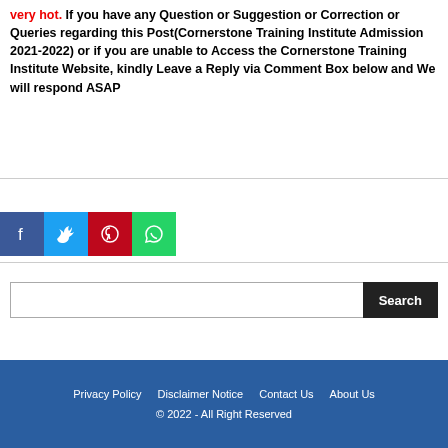Very hot. If you have any Question or Suggestion or Correction or Queries regarding this Post(Cornerstone Training Institute Admission 2021-2022) or if you are unable to Access the Cornerstone Training Institute Website, kindly Leave a Reply via Comment Box below and We will respond ASAP
[Figure (infographic): Facebook Like button showing thumbs up icon and Like 0]
[Figure (infographic): Social share icons: Facebook (blue), Twitter (light blue), Pinterest (red), WhatsApp (green)]
[Figure (infographic): Search bar with text input and black Search button]
Privacy Policy   Disclaimer Notice   Contact Us   About Us
© 2022 - All Right Reserved